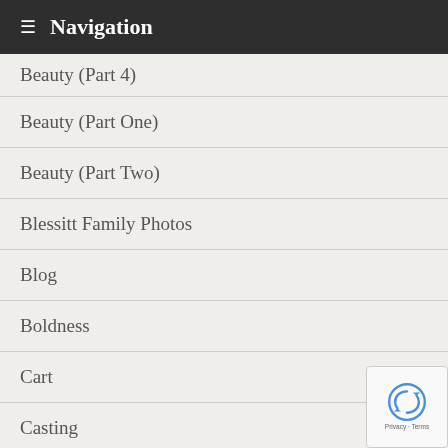Navigation
Beauty (Part 4)
Beauty (Part One)
Beauty (Part Two)
Blessitt Family Photos
Blog
Boldness
Cart
Casting
Checkout